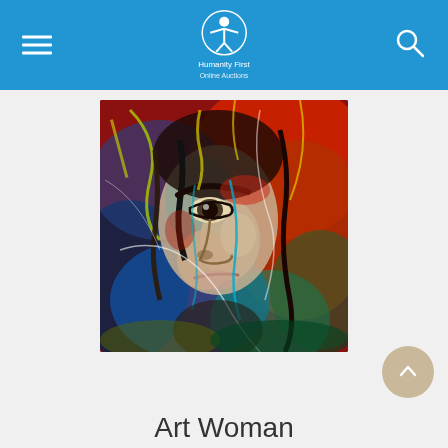Humanity First — Online Auctions (header navigation bar)
[Figure (illustration): Colorful expressionist painting of a woman's face close-up, with vivid splashes of red, blue, yellow, green paint strokes in an abstract style.]
Art Woman